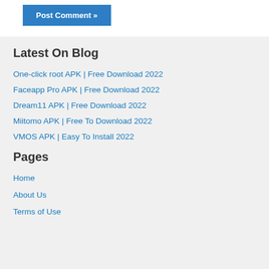Post Comment »
Latest On Blog
One-click root APK | Free Download 2022
Faceapp Pro APK | Free Download 2022
Dream11 APK | Free Download 2022
Miitomo APK | Free To Download 2022
VMOS APK | Easy To Install 2022
Pages
Home
About Us
Terms of Use